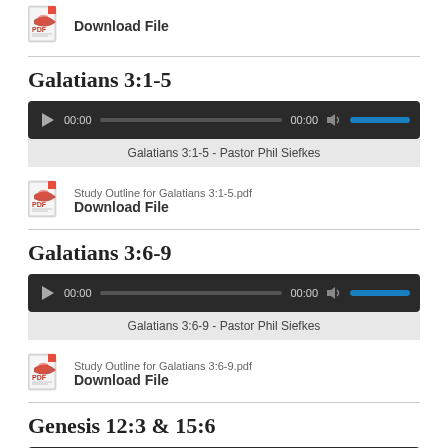[Figure (other): PDF icon with Download File link]
Download File
Galatians 3:1-5
[Figure (other): Audio player widget showing 00:00 time and progress bar]
Galatians 3:1-5 - Pastor Phil Siefkes
Study Outline for Galatians 3:1-5.pdf
Download File
Galatians 3:6-9
[Figure (other): Audio player widget showing 00:00 time and progress bar]
Galatians 3:6-9 - Pastor Phil Siefkes
Study Outline for Galatians 3:6-9.pdf
Download File
Genesis 12:3 & 15:6
[Figure (other): Audio player widget (partially visible)]